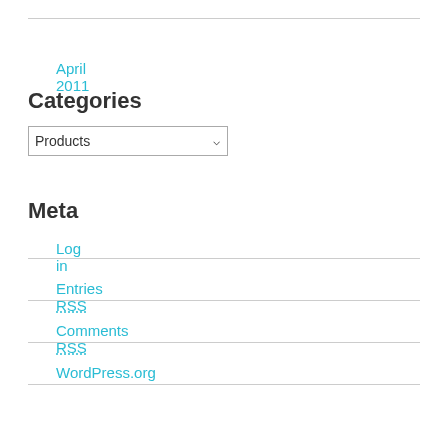April 2011
Categories
Products (dropdown)
Meta
Log in
Entries RSS
Comments RSS
WordPress.org